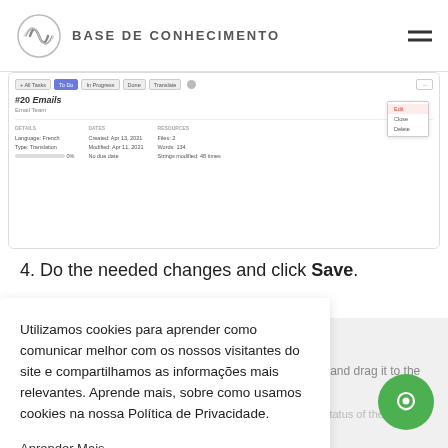BASE DE CONHECIMENTO
[Figure (screenshot): Screenshot of a task management interface showing a task list with tabs (All Tasks, To Do, In Progress, Done, Translate), a task item '#20 Emails / Email Team', with details panel showing Language: French, Type: Translation, Created/Modified dates, and a dropdown menu with options Edit, Close, Delete highlighted in red.]
4. Do the needed changes and click Save.
Changing Task Status
To change the task status, select the task assigned to you and drag it to the column with the status you need.
Note: Only the project owner and managers can change the status of the project tasks.
Utilizamos cookies para aprender como comunicar melhor com os nossos visitantes do site e compartilhamos as informações mais relevantes. Aprende mais, sobre como usamos cookies na nossa Política de Privacidade.
Aprender Mais
Entendido!